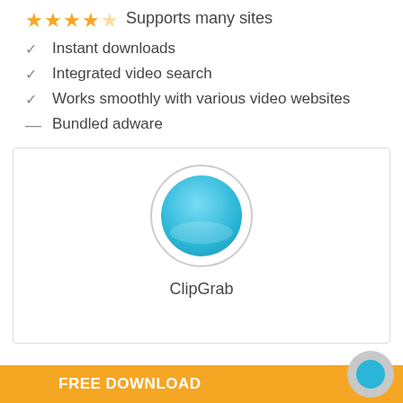★★★★☆ Supports many sites
✓ Instant downloads
✓ Integrated video search
✓ Works smoothly with various video websites
— Bundled adware
[Figure (logo): ClipGrab app logo: a teal/blue glossy circle on white background inside a bordered card]
ClipGrab
FREE DOWNLOAD